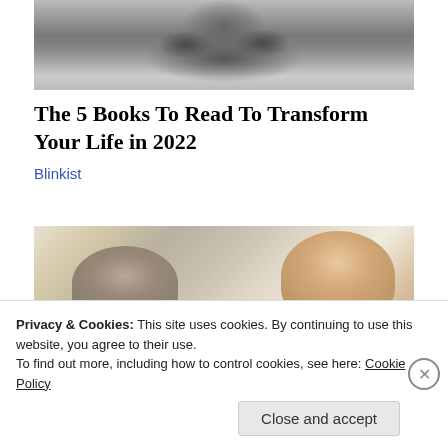[Figure (photo): Black and white cropped photo showing lower portion of a man's face with beard, close-up.]
The 5 Books To Read To Transform Your Life in 2022
Blinkist
[Figure (photo): Color photo of elderly man with glasses and elderly woman in bed, with a younger woman (caregiver/nurse) facing them.]
Privacy & Cookies: This site uses cookies. By continuing to use this website, you agree to their use.
To find out more, including how to control cookies, see here: Cookie Policy
Close and accept